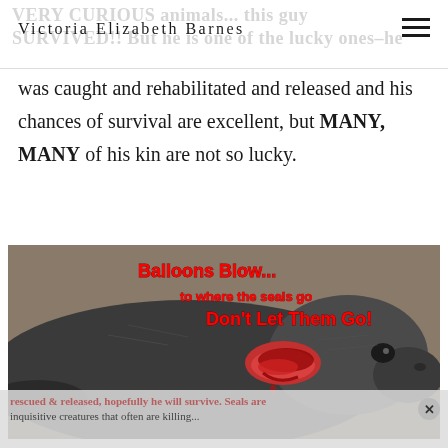Victoria Elizabeth Barnes
was caught and rehabilitated and released and his chances of survival are excellent, but MANY, MANY of his kin are not so lucky.
[Figure (photo): A seal lying on the ground with a deep wound around its neck, likely caused by entanglement in balloon debris or fishing line. Overlaid text reads: 'Balloons Blow... to where the seals go Don't Let Them Go!']
He was rescued & released, hopefully he will survive. Seals are inquisitive creatures that often are killing...